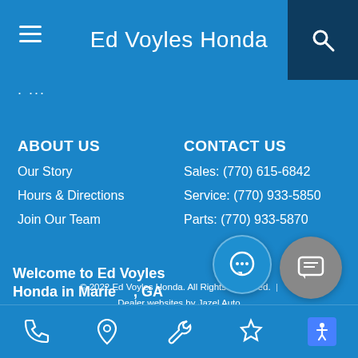Ed Voyles Honda
· ···
ABOUT US
Our Story
Hours & Directions
Join Our Team
CONTACT US
Sales: (770) 615-6842
Service: (770) 933-5850
Parts: (770) 933-5870
© 2022 Ed Voyles Honda. All Rights Reserved. | Dealer websites by Jazel Auto
Sitemap | Privacy Policy
Welcome to Ed Voyles Honda in Marietta, GA